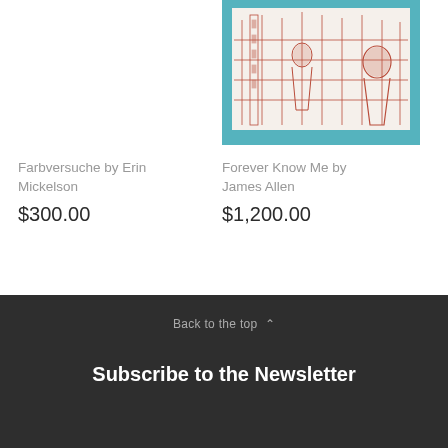[Figure (illustration): Artwork image with teal/blue border containing a red/rust colored etching or print of an interior scene with figures]
Farbversuche by Erin Mickelson
$300.00
Forever Know Me by James Allen
$1,200.00
Back to the top ∧
Subscribe to the Newsletter